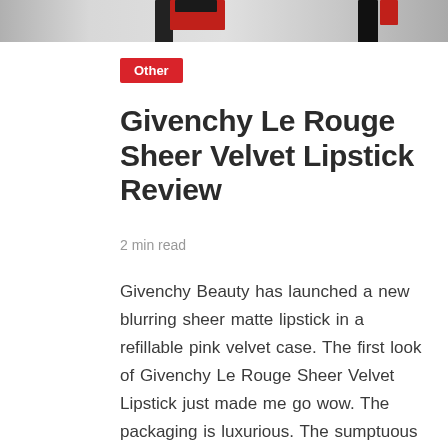[Figure (photo): Close-up photo of Givenchy lipstick products with red and black packaging against a light background, cropped at top of page]
Other
Givenchy Le Rouge Sheer Velvet Lipstick Review
2 min read
Givenchy Beauty has launched a new blurring sheer matte lipstick in a refillable pink velvet case. The first look of Givenchy Le Rouge Sheer Velvet Lipstick just made me go wow. The packaging is luxurious. The sumptuous pink velvet feels soft and...